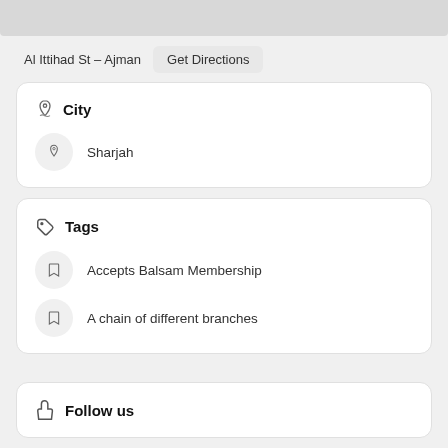[Figure (other): Map strip placeholder at top of page]
Al Ittihad St - Ajman
Get Directions
City
Sharjah
Tags
Accepts Balsam Membership
A chain of different branches
Follow us